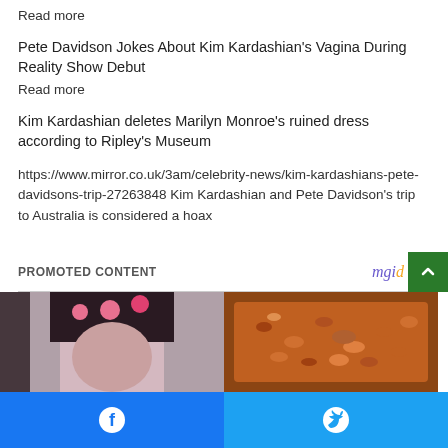Read more
Pete Davidson Jokes About Kim Kardashian's Vagina During Reality Show Debut
Read more
Kim Kardashian deletes Marilyn Monroe's ruined dress according to Ripley's Museum
https://www.mirror.co.uk/3am/celebrity-news/kim-kardashians-pete-davidsons-trip-27263848 Kim Kardashian and Pete Davidson's trip to Australia is considered a hoax
PROMOTED CONTENT
[Figure (photo): Two promotional image thumbnails side by side: left shows a woman with pink hair rollers, right shows a food dish with granola or similar topping]
Facebook and Twitter social share buttons